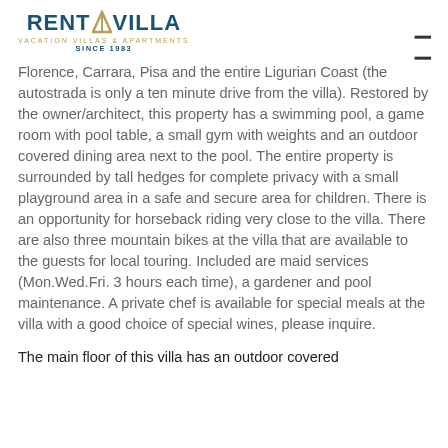RENT A VILLA — VACATION VILLAS & APARTMENTS SINCE 1983
Florence, Carrara, Pisa and the entire Ligurian Coast (the autostrada is only a ten minute drive from the villa). Restored by the owner/architect, this property has a swimming pool, a game room with pool table, a small gym with weights and an outdoor covered dining area next to the pool. The entire property is surrounded by tall hedges for complete privacy with a small playground area in a safe and secure area for children. There is an opportunity for horseback riding very close to the villa. There are also three mountain bikes at the villa that are available to the guests for local touring. Included are maid services (Mon.Wed.Fri. 3 hours each time), a gardener and pool maintenance. A private chef is available for special meals at the villa with a good choice of special wines, please inquire.
The main floor of this villa has an outdoor covered